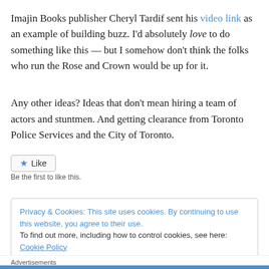Imajin Books publisher Cheryl Tardif sent his video link as an example of building buzz. I'd absolutely love to do something like this — but I somehow don't think the folks who run the Rose and Crown would be up for it.
Any other ideas? Ideas that don't mean hiring a team of actors and stuntmen. And getting clearance from Toronto Police Services and the City of Toronto.
★ Like
Be the first to like this.
Privacy & Cookies: This site uses cookies. By continuing to use this website, you agree to their use. To find out more, including how to control cookies, see here: Cookie Policy
Close and accept
Advertisements